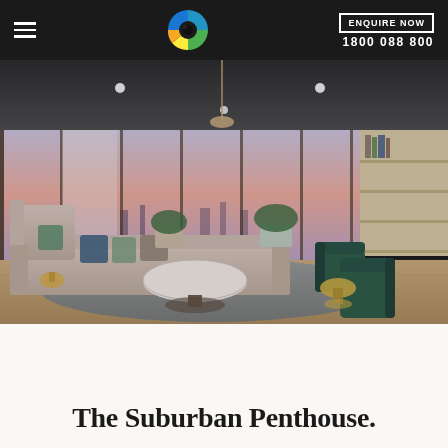ENQUIRE NOW | 1800 088 800
[Figure (photo): Luxury penthouse living room with floor-to-ceiling windows overlooking a city skyline at dusk. Features a large sectional sofa, round marble coffee table, green armchairs, built-in bookshelves, and a flat-screen TV. Decorative pillows in blue, green, and grey. Warm wood flooring.]
The Suburban Penthouse.